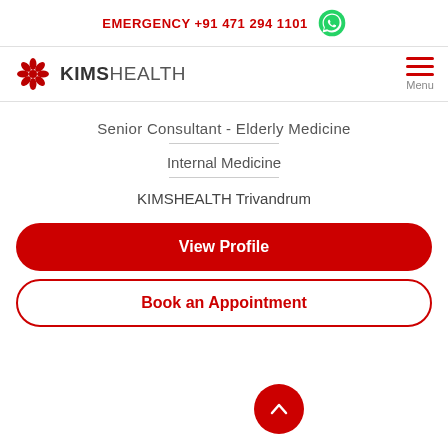EMERGENCY +91 471 294 1101
[Figure (logo): KIMSHEALTH logo with red snowflake/star icon and text 'KIMSHEALTH']
Senior Consultant - Elderly Medicine
Internal Medicine
KIMSHEALTH Trivandrum
View Profile
Book an Appointment